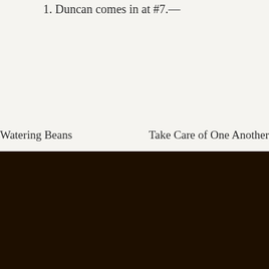1. Duncan comes in at #7.—
Watering Beans
Take Care of One Another
[Figure (logo): O&F logo monogram in muted gray and gold ampersand on dark brown background]
THE OAK & FOLK
Home
Archives
Follow
About